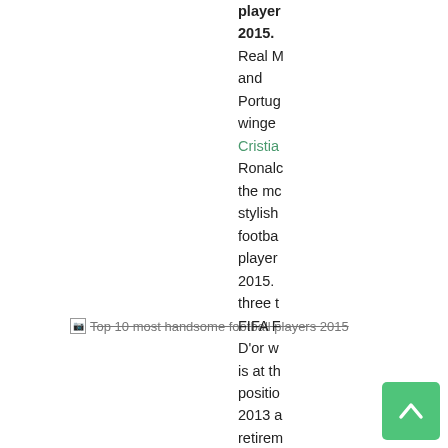players 2015. Real M and Portug winger Cristia Ronalc the mc stylish footba player 2015. three t FIFA F D'or w is at th positio 2013 a retirem
[Figure (photo): Broken image placeholder with alt text 'Top 10 most handsome football players 2015']